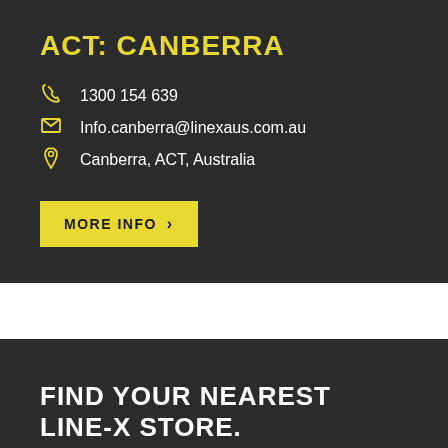ACT: CANBERRA
1300 154 639
Info.canberra@linexaus.com.au
Canberra, ACT, Australia
MORE INFO >
FIND YOUR NEAREST LINE-X STORE.